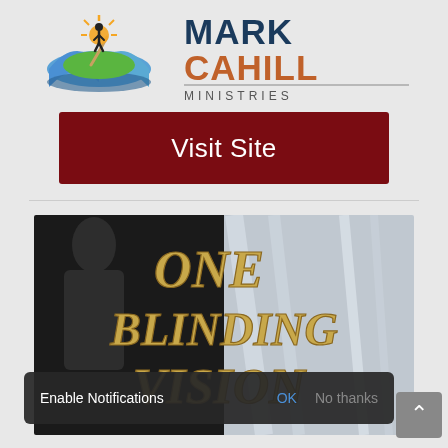[Figure (logo): Mark Cahill Ministries logo with open book and sunrise silhouette on left, and 'MARK CAHILL MINISTRIES' text on right]
Visit Site
[Figure (illustration): Book cover for 'One Blinding Vision' with gold serif text on a dramatic image background]
Enable Notifications  OK  No thanks